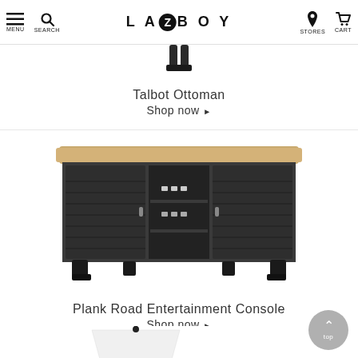La-Z-Boy — MENU, SEARCH, STORES, CART
[Figure (photo): Partial view of Talbot Ottoman product image (bottom portion cut off at top of page)]
Talbot Ottoman
Shop now ▶
[Figure (photo): Plank Road Entertainment Console — dark charcoal wood TV console with two louvered cabinet doors, open shelving in center, and light wood top]
Plank Road Entertainment Console
Shop now ▶
[Figure (photo): Partially visible lamp base and shade at bottom of page]